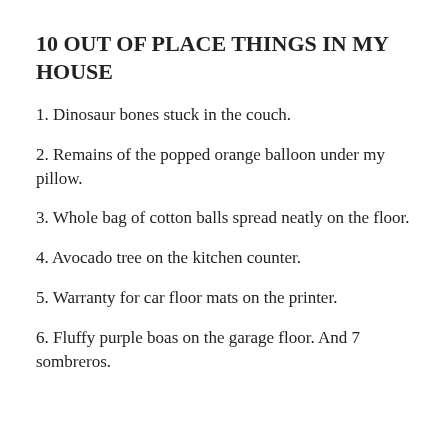10 OUT OF PLACE THINGS IN MY HOUSE
1. Dinosaur bones stuck in the couch.
2. Remains of the popped orange balloon under my pillow.
3. Whole bag of cotton balls spread neatly on the floor.
4. Avocado tree on the kitchen counter.
5. Warranty for car floor mats on the printer.
6. Fluffy purple boas on the garage floor. And 7 sombreros.